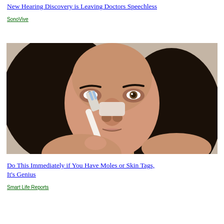New Hearing Discovery is Leaving Doctors Speechless
SonoVive
[Figure (photo): Woman using a toothbrush on her nose, close-up photo]
Do This Immediately if You Have Moles or Skin Tags, It's Genius
Smart Life Reports